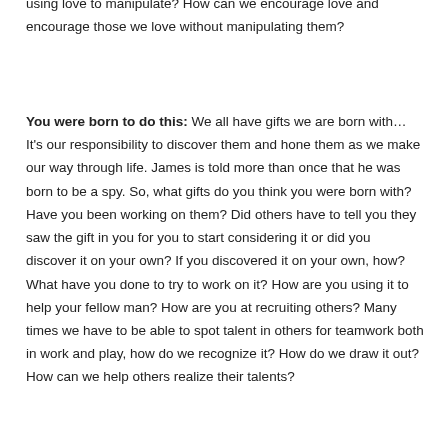using love to manipulate?  How can we encourage love and encourage those we love without manipulating them?
You were born to do this:  We all have gifts we are born with…  It's our responsibility to discover them and hone them as we make our way through life.  James is told more than once that he was born to be a spy.  So, what gifts do you think you were born with?  Have you been working on them?  Did others have to tell you they saw the gift in you for you to start considering it or did you discover it on your own?  If you discovered it on your own, how?  What have you done to try to work on it?  How are you using it to help your fellow man?  How are you at recruiting others?  Many times we have to be able to spot talent in others for teamwork both in work and play, how do we recognize it?  How do we draw it out?  How can we help others realize their talents?